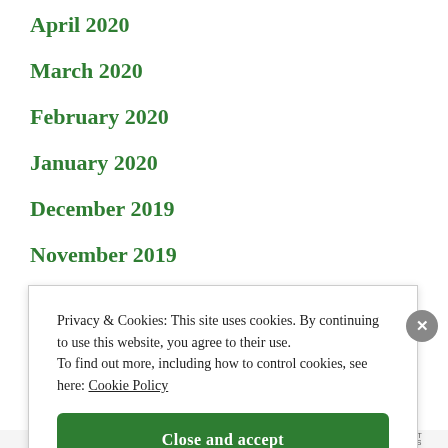April 2020
March 2020
February 2020
January 2020
December 2019
November 2019
Privacy & Cookies: This site uses cookies. By continuing to use this website, you agree to their use. To find out more, including how to control cookies, see here: Cookie Policy
Close and accept